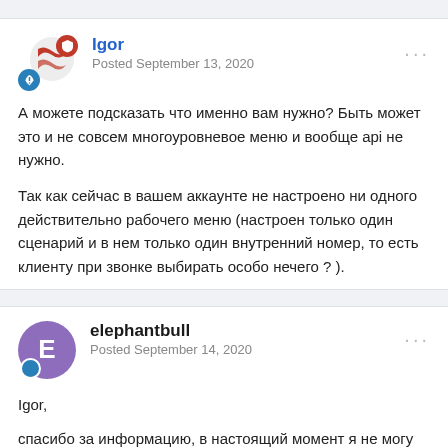Igor
Posted September 13, 2020
А можете подсказать что именно вам нужно? Быть может это и не совсем многоуровневое меню и вообще api не нужно.
Так как сейчас в вашем аккаунте не настроено ни одного действительно рабочего меню (настроен только один сценарий и в нем только один внутренний номер, то есть клиенту при звонке выбирать особо нечего ? ).
elephantbull
Posted September 14, 2020
Igor,
спасибо за информацию, в настоящий момент я не могу